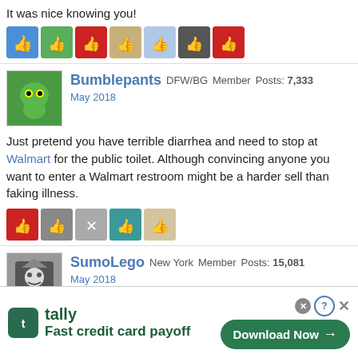It was nice knowing you!
[Figure (other): Row of reaction/like icons from forum users]
Bumblepants DFW/BG Member Posts: 7,333 May 2018
Just pretend you have terrible diarrhea and need to stop at Walmart for the public toilet. Although convincing anyone you want to enter a Walmart restroom might be a harder sell than faking illness.
[Figure (other): Row of reaction/like icons from forum users]
SumoLego New York Member Posts: 15,081 May 2018
Is there a Target nearby?
daewoo DFW Member Posts: 759
[Figure (other): Tally advertisement banner - Fast credit card payoff - Download Now]